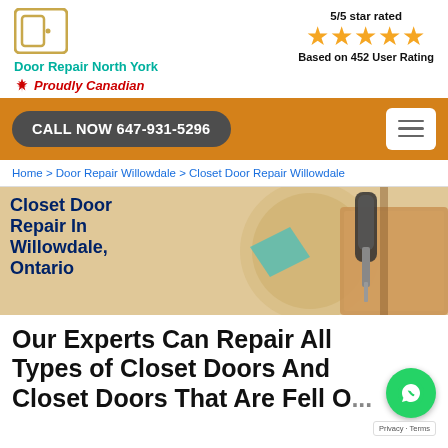[Figure (logo): Door Repair North York logo - letter D icon]
Door Repair North York
🍁 Proudly Canadian
5/5 star rated
[Figure (other): Five gold stars rating]
Based on 452 User Rating
CALL NOW 647-931-5296
Home > Door Repair Willowdale > Closet Door Repair Willowdale
[Figure (photo): Hero image showing a screwdriver/drill repairing a wooden door frame with geometric shapes]
Closet Door Repair In Willowdale, Ontario
Our Experts Can Repair All Types of Closet Doors And Closet Doors That Are Fell Off...